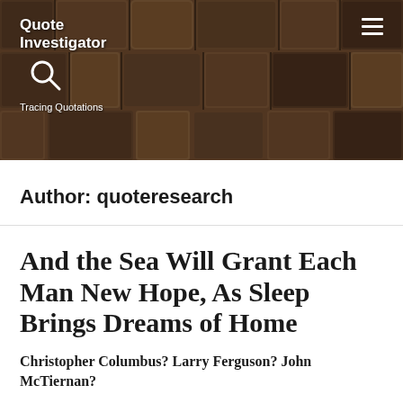[Figure (photo): Header image showing letterpress wooden type blocks in dark brown tones, with the Quote Investigator logo and tagline overlaid in white text on the left, and a hamburger menu icon on the right.]
Author: quoteresearch
And the Sea Will Grant Each Man New Hope, As Sleep Brings Dreams of Home
Christopher Columbus? Larry Ferguson? John McTiernan?